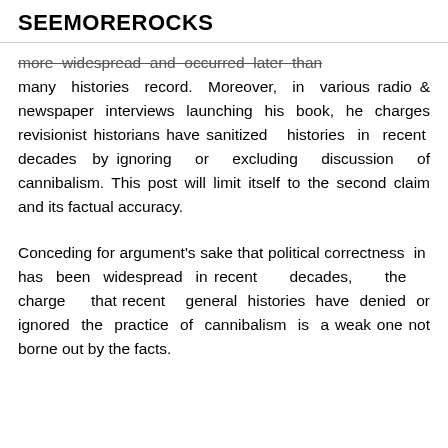SEEMOREROCKS
more widespread and occurred later than many histories record. Moreover, in various radio & newspaper interviews launching his book, he charges revisionist historians have sanitized histories in recent decades by ignoring or excluding discussion of cannibalism. This post will limit itself to the second claim and its factual accuracy.
Conceding for argument's sake that political correctness in has been widespread in recent decades, the charge that recent general histories have denied or ignored the practice of cannibalism is a weak one not borne out by the facts.